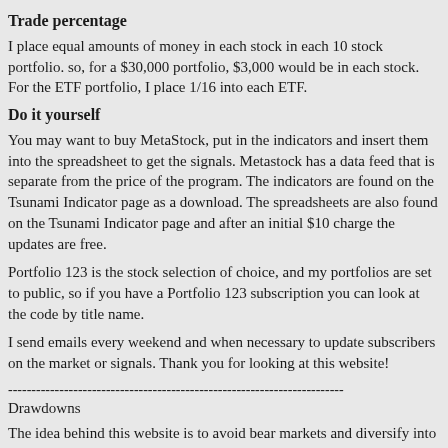Trade percentage
I place equal amounts of money in each stock in each 10 stock portfolio. so, for a $30,000 portfolio, $3,000 would be in each stock.  For the ETF portfolio, I place 1/16 into each ETF.
Do it yourself
You may want to buy MetaStock, put in the indicators and insert them into the spreadsheet to get the signals.  Metastock has a data feed that is separate from the price of the program.  The indicators are found on the Tsunami Indicator page as a download.  The spreadsheets are also found on the Tsunami Indicator page and after an initial $10 charge the updates are free.
Portfolio 123 is the stock selection of choice, and my portfolios are set to public, so if you have a Portfolio 123 subscription you can look at the code by title name.
I send emails every weekend and when necessary to update subscribers on the market or signals.  Thank you for looking at this website!
------------------------------------------------------------------------
Drawdowns
The idea behind this website is to avoid bear markets and diversify into mutually exclusive stock market methods.  The Tsunami Indicator, I feel, does a fine job of calling bear markets.  But how about the corrections that happen